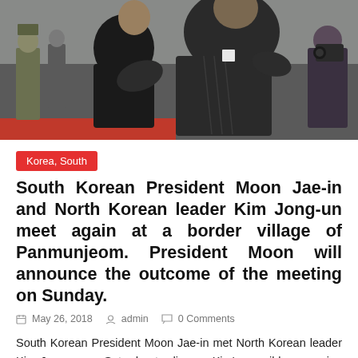[Figure (photo): Two men in dark suits embracing/hugging, with military personnel and a photographer visible in the background. Red carpet visible at bottom left. News photo from a diplomatic meeting.]
Korea, South
South Korean President Moon Jae-in and North Korean leader Kim Jong-un meet again at a border village of Panmunjeom. President Moon will announce the outcome of the meeting on Sunday.
May 26, 2018   admin   0 Comments
South Korean President Moon Jae-in met North Korean leader Kim Jong-un on Saturday to discuss Kim's possible upcoming summit with